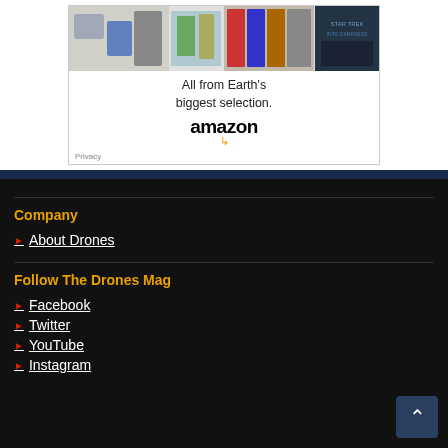[Figure (screenshot): Amazon advertisement banner showing products at top, text 'All from Earth's biggest selection.' and Amazon logo with arrow]
Company
About Drones
Follow The Drones Mag
Facebook
Twitter
YouTube
Instagram